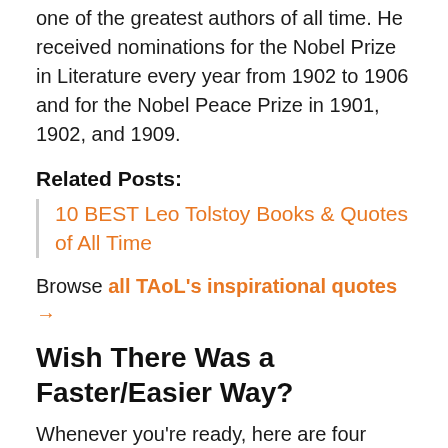one of the greatest authors of all time. He received nominations for the Nobel Prize in Literature every year from 1902 to 1906 and for the Nobel Peace Prize in 1901, 1902, and 1909.
Related Posts:
10 BEST Leo Tolstoy Books & Quotes of All Time
Browse all TAoL's inspirational quotes →
Wish There Was a Faster/Easier Way?
Whenever you're ready, here are four ways I can help you be more productive, find more balance and live life more on purpose...